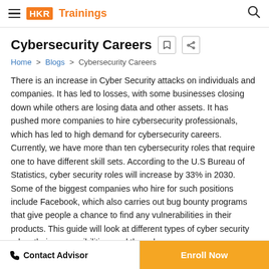HKR Trainings
Cybersecurity Careers
Home > Blogs > Cybersecurity Careers
There is an increase in Cyber Security attacks on individuals and companies. It has led to losses, with some businesses closing down while others are losing data and other assets. It has pushed more companies to hire cybersecurity professionals, which has led to high demand for cybersecurity careers. Currently, we have more than ten cybersecurity roles that require one to have different skill sets. According to the U.S Bureau of Statistics, cyber security roles will increase by 33% in 2030. Some of the biggest companies who hire for such positions include Facebook, which also carries out bug bounty programs that give people a chance to find any vulnerabilities in their products. This guide will look at different types of cyber security roles, their responsibilities, and the salary
Contact Advisor | Enroll Now